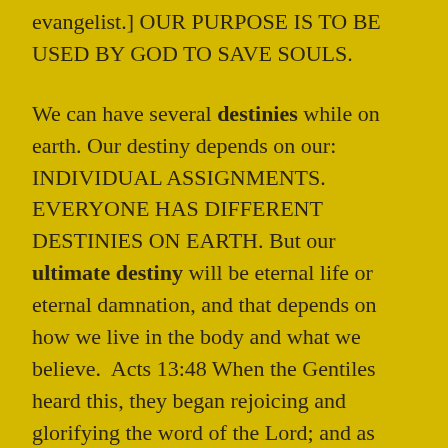evangelist.] OUR PURPOSE IS TO BE USED BY GOD TO SAVE SOULS.
We can have several destinies while on earth. Our destiny depends on our: INDIVIDUAL ASSIGNMENTS. EVERYONE HAS DIFFERENT DESTINIES ON EARTH. But our ultimate destiny will be eternal life or eternal damnation, and that depends on how we live in the body and what we believe.  Acts 13:48 When the Gentiles heard this, they began rejoicing and glorifying the word of the Lord; and as many as had been appointed to eternal life believed.
And in order to fulfill our purpose, we all need a